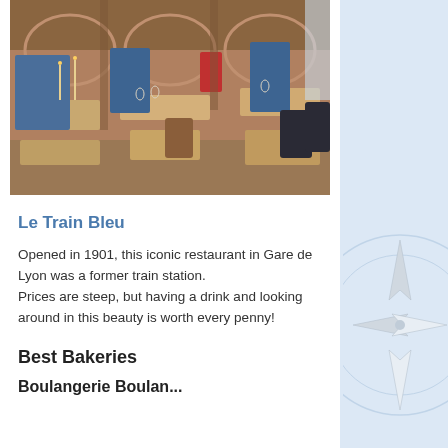[Figure (photo): Interior of Le Train Bleu restaurant — elegant dining room with set tables, candles, wooden chairs, arched stone walls, and blue partition panels]
Le Train Bleu
Opened in 1901, this iconic restaurant in Gare de Lyon was a former train station. Prices are steep, but having a drink and looking around in this beauty is worth every penny!
Best Bakeries
Boulangerie Boulanger...